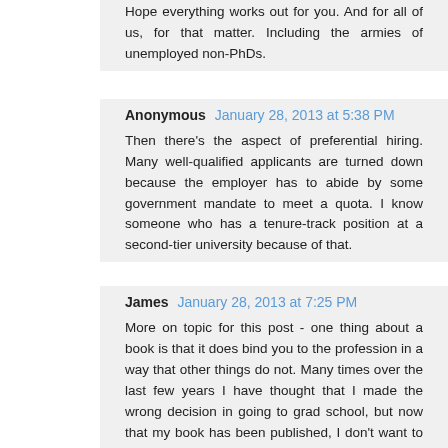Hope everything works out for you. And for all of us, for that matter. Including the armies of unemployed non-PhDs.
Anonymous January 28, 2013 at 5:38 PM
Then there's the aspect of preferential hiring. Many well-qualified applicants are turned down because the employer has to abide by some government mandate to meet a quota. I know someone who has a tenure-track position at a second-tier university because of that.
James January 28, 2013 at 7:25 PM
More on topic for this post - one thing about a book is that it does bind you to the profession in a way that other things do not. Many times over the last few years I have thought that I made the wrong decision in going to grad school, but now that my book has been published, I don't want to wish it out of existence - not that it is seminal or